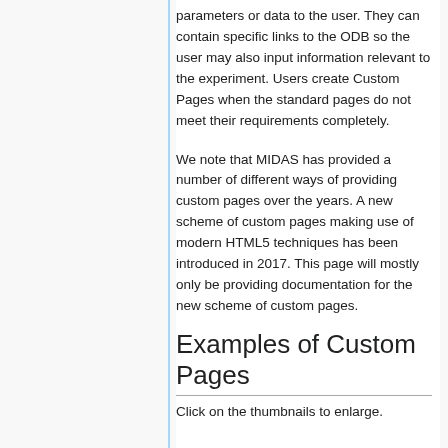parameters or data to the user. They can contain specific links to the ODB so the user may also input information relevant to the experiment. Users create Custom Pages when the standard pages do not meet their requirements completely.
We note that MIDAS has provided a number of different ways of providing custom pages over the years. A new scheme of custom pages making use of modern HTML5 techniques has been introduced in 2017. This page will mostly only be providing documentation for the new scheme of custom pages.
Examples of Custom Pages
Click on the thumbnails to enlarge.